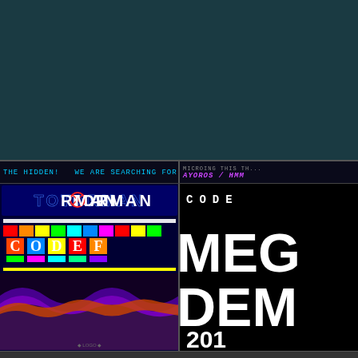[Figure (screenshot): Dark teal background upper portion of the page]
[Figure (screenshot): Left screen showing TOTORMAN / CODEF demoscene intro with colorful bars and plasma effect]
[Figure (screenshot): Right screen showing CODE MEGA DEMO 2011 title in large white bold text on black background]
THE HIDDEN!   WE ARE SEARCHING FOR NEU
MICROING THIS TH... / AYOROS / HMM